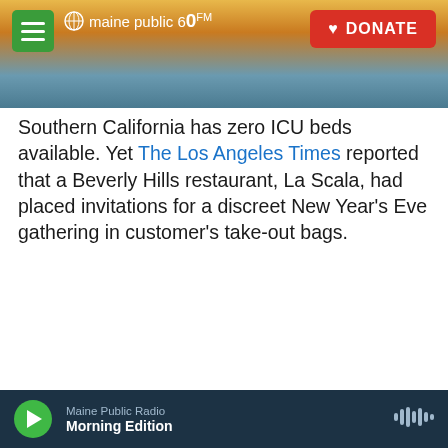maine public 60 | DONATE
Southern California has zero ICU beds available. Yet The Los Angeles Times reported that a Beverly Hills restaurant, La Scala, had placed invitations for a discreet New Year's Eve gathering in customer's take-out bags.
[Figure (screenshot): Tweet by @awalkerinLA (Alissa Walker, verified): 'Merry Christmas everyone! La Scala's Beverly Hills location is tucking these invitations to an indoor New Year's Eve dinner in their takeout bags: "Please keep this discreet, but tell all']
Maine Public Radio | Morning Edition